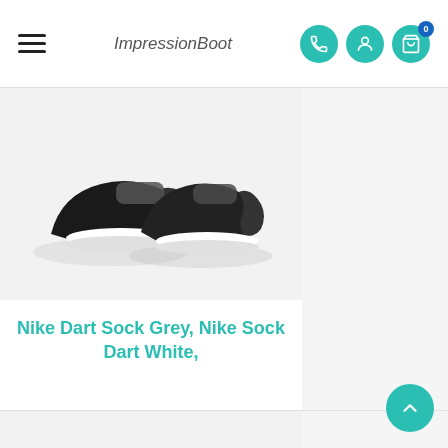ImpressionBoot
[Figure (photo): Black Nike Sock Dart sneakers, pair, side view on white background]
Nike Dart Sock Grey, Nike Sock Dart White,
[Figure (photo): Gold/yellow patterned Nike Sock Dart sneakers, pair, side view on white background]